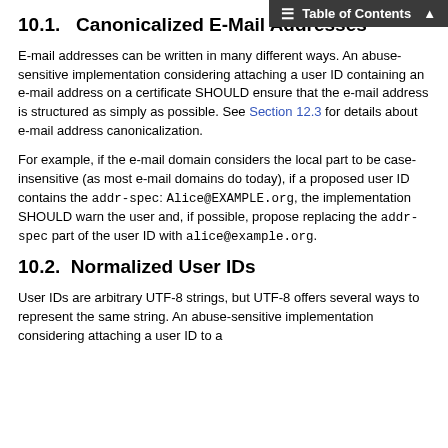Table of Contents
10.1.   Canonicalized E-Mail Addresses
E-mail addresses can be written in many different ways. An abuse-sensitive implementation considering attaching a user ID containing an e-mail address on a certificate SHOULD ensure that the e-mail address is structured as simply as possible. See Section 12.3 for details about e-mail address canonicalization.
For example, if the e-mail domain considers the local part to be case-insensitive (as most e-mail domains do today), if a proposed user ID contains the addr-spec: Alice@EXAMPLE.org, the implementation SHOULD warn the user and, if possible, propose replacing the addr-spec part of the user ID with alice@example.org.
10.2.  Normalized User IDs
User IDs are arbitrary UTF-8 strings, but UTF-8 offers several ways to represent the same string. An abuse-sensitive implementation considering attaching a user ID to a